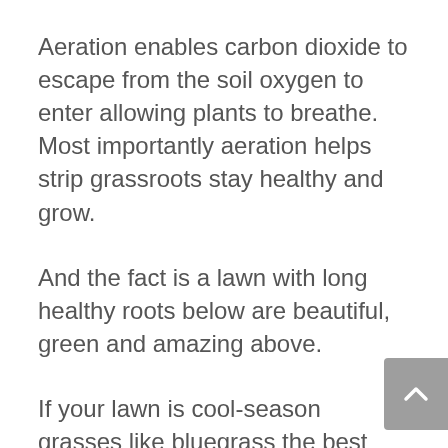Aeration enables carbon dioxide to escape from the soil oxygen to enter allowing plants to breathe. Most importantly aeration helps strip grassroots stay healthy and grow.
And the fact is a lawn with long healthy roots below are beautiful, green and amazing above.
If your lawn is cool-season grasses like bluegrass the best time aerate are when temperatures are cooler and weeds less active in the fall at least four weeks before the first hard Frost or in the Spring if...